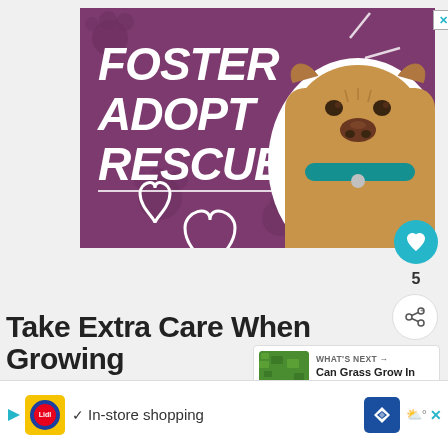[Figure (illustration): Advertisement banner with purple background showing a tan/brown dog (pit bull type) with a teal collar. White bold italic text reads 'FOSTER ADOPT RESCUE'. White heart outlines and decorative line marks are scattered on the background.]
5
WHAT'S NEXT → Can Grass Grow In Cla...
Take Extra Care When Growing
[Figure (illustration): Bottom advertisement banner: Lidl logo (yellow square with red/blue text), checkmark icon, text 'In-store shopping', blue diamond navigation icon, weather icon with degree symbol, and close X button.]